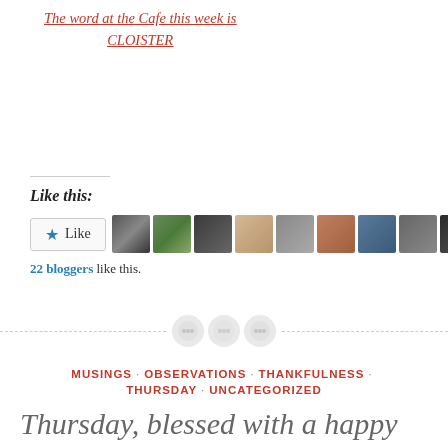The word at the Cafe this week is CLOISTER
Like this:
[Figure (other): Like button with star icon and 10 user avatar thumbnails]
22 bloggers like this.
[Figure (other): Decorative divider with dashed lines and three button circles]
MUSINGS · OBSERVATIONS · THANKFULNESS · THURSDAY · UNCATEGORIZED
Thursday, blessed with a happy